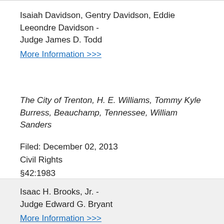Isaiah Davidson, Gentry Davidson, Eddie Leeondre Davidson - Judge James D. Todd
More Information >>>
The City of Trenton, H. E. Williams, Tommy Kyle Burress, Beauchamp, Tennessee, William Sanders
Filed: December 02, 2013
Civil Rights
§42:1983
jury demanded by Plaintiff
Isaac H. Brooks, Jr. - Judge Edward G. Bryant
More Information >>>